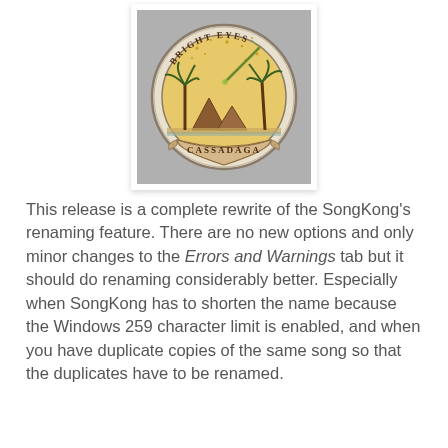[Figure (illustration): Album cover for Bright Eyes - Cassadaga. A circular seal/badge on a grey background showing palm trees, pyramids, a comet and stars. Text reads 'BRIGHT EYES' at top and 'CASSADAGA' at bottom of the circle.]
This release is a complete rewrite of the SongKong's renaming feature. There are no new options and only minor changes to the Errors and Warnings tab but it should do renaming considerably better. Especially when SongKong has to shorten the name because the Windows 259 character limit is enabled, and when you have duplicate copies of the same song so that the duplicates have to be renamed.